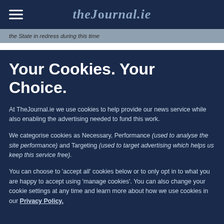theJournal.ie
the State in redress during this time
Your Cookies. Your Choice.
At TheJournal.ie we use cookies to help provide our news service while also enabling the advertising needed to fund this work.
We categorise cookies as Necessary, Performance (used to analyse the site performance) and Targeting (used to target advertising which helps us keep this service free).
You can choose to 'accept all' cookies below or to only opt in to what you are happy to accept using 'manage cookies'. You can also change your cookie settings at any time and learn more about how we use cookies in our Privacy Policy.